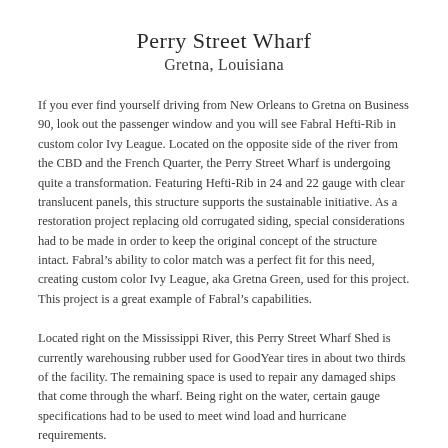Perry Street Wharf
Gretna, Louisiana
If you ever find yourself driving from New Orleans to Gretna on Business 90, look out the passenger window and you will see Fabral Hefti-Rib in custom color Ivy League. Located on the opposite side of the river from the CBD and the French Quarter, the Perry Street Wharf is undergoing quite a transformation. Featuring Hefti-Rib in 24 and 22 gauge with clear translucent panels, this structure supports the sustainable initiative. As a restoration project replacing old corrugated siding, special considerations had to be made in order to keep the original concept of the structure intact. Fabral’s ability to color match was a perfect fit for this need, creating custom color Ivy League, aka Gretna Green, used for this project. This project is a great example of Fabral’s capabilities.
Located right on the Mississippi River, this Perry Street Wharf Shed is currently warehousing rubber used for GoodYear tires in about two thirds of the facility. The remaining space is used to repair any damaged ships that come through the wharf. Being right on the water, certain gauge specifications had to be used to meet wind load and hurricane requirements.